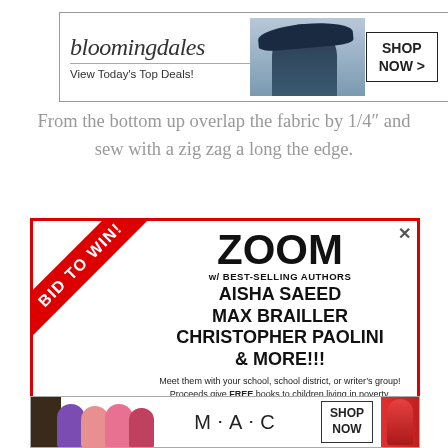[Figure (infographic): Bloomingdale's banner advertisement: logo, 'View Today's Top Deals!', woman in hat, SHOP NOW button]
From the bottom up overlap the fabric by 1/4" and sew with a zig zag a long the edge.
[Figure (infographic): Zoom advertisement with red border and BID TO WIN ribbon. Text: ZOOM w/ BEST-SELLING AUTHORS AISHA SAEED MAX BRAILLER CHRISTOPHER PAOLINI & MORE!!! Meet them with your school, school district, or writer's group! Proceeds give FREE books to children living in poverty. CLOSE button.]
[Figure (infographic): MAC Cosmetics banner advertisement with lipsticks, MAC logo, and SHOP NOW button]